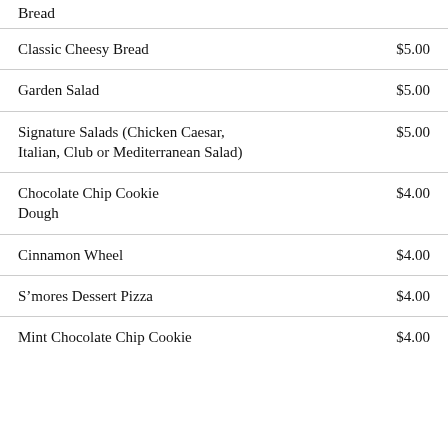Bread
| Item | Price |
| --- | --- |
| Classic Cheesy Bread | $5.00 |
| Garden Salad | $5.00 |
| Signature Salads (Chicken Caesar, Italian, Club or Mediterranean Salad) | $5.00 |
| Chocolate Chip Cookie Dough | $4.00 |
| Cinnamon Wheel | $4.00 |
| S’mores Dessert Pizza | $4.00 |
| Mint Chocolate Chip Cookie | $4.00 |